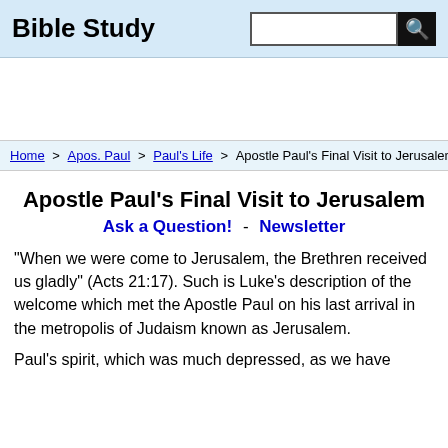Bible Study
Home > Apos. Paul > Paul's Life > Apostle Paul's Final Visit to Jerusalem
Apostle Paul's Final Visit to Jerusalem
Ask a Question!  -  Newsletter
"When we were come to Jerusalem, the Brethren received us gladly" (Acts 21:17). Such is Luke's description of the welcome which met the Apostle Paul on his last arrival in the metropolis of Judaism known as Jerusalem.
Paul's spirit, which was much depressed, as we have